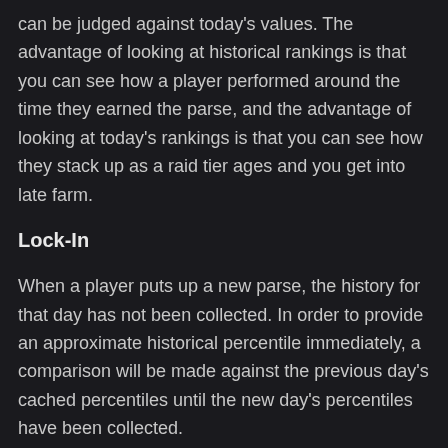can be judged against today's values. The advantage of looking at historical rankings is that you can see how a player performed around the time they earned the parse, and the advantage of looking at today's rankings is that you can see how they stack up as a raid tier ages and you get into late farm.
Lock-In
When a player puts up a new parse, the history for that day has not been collected. In order to provide an approximate historical percentile immediately, a comparison will be made against the previous day's cached percentiles until the new day's percentiles have been collected.
This means that if 100% for the previous day was 11k DPS, every player who beats that score the following